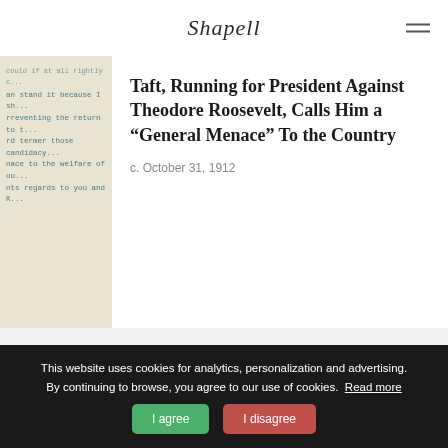Shapell
[Figure (photo): Partial view of a typewritten letter with blue typewriter text on cream/beige paper, showing partial lines of text]
Taft, Running for President Against Theodore Roosevelt, Calls Him a “General Menace” To the Country
c. October 31, 1912
RELATED
[Figure (photo): Partial view of a related historical photograph or document]
[Figure (photo): Partial view of another related historical photograph or document]
This website uses cookies for analytics, personalization and advertising. By continuing to browse, you agree to our use of cookies. Read more